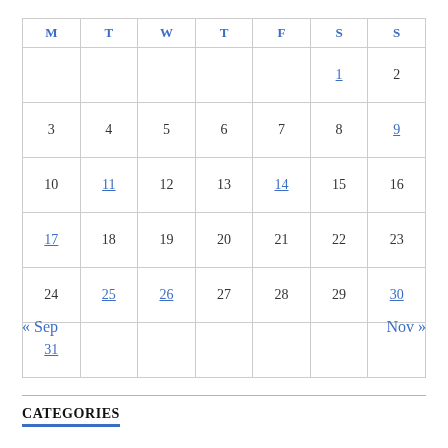| M | T | W | T | F | S | S |
| --- | --- | --- | --- | --- | --- | --- |
|  |  |  |  |  | 1 | 2 |
| 3 | 4 | 5 | 6 | 7 | 8 | 9 |
| 10 | 11 | 12 | 13 | 14 | 15 | 16 |
| 17 | 18 | 19 | 20 | 21 | 22 | 23 |
| 24 | 25 | 26 | 27 | 28 | 29 | 30 |
| 31 |  |  |  |  |  |  |
« Sep
Nov »
CATEGORIES